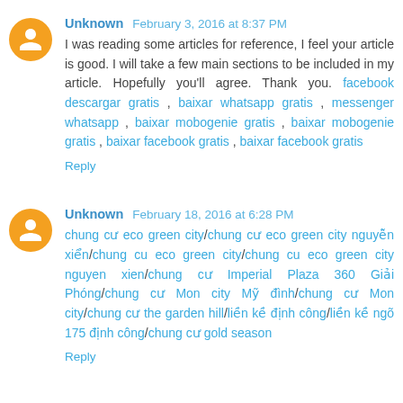Unknown  February 3, 2016 at 8:37 PM
I was reading some articles for reference, I feel your article is good. I will take a few main sections to be included in my article. Hopefully you'll agree. Thank you. facebook descargar gratis , baixar whatsapp gratis , messenger whatsapp , baixar mobogenie gratis , baixar mobogenie gratis , baixar facebook gratis , baixar facebook gratis
Reply
Unknown  February 18, 2016 at 6:28 PM
chung cư eco green city/chung cư eco green city nguyễn xiển/chung cu eco green city/chung cu eco green city nguyen xien/chung cư Imperial Plaza 360 Giải Phóng/chung cư Mon city Mỹ đình/chung cư Mon city/chung cư the garden hill/liền kề định công/liền kề ngõ 175 định công/chung cư gold season
Reply